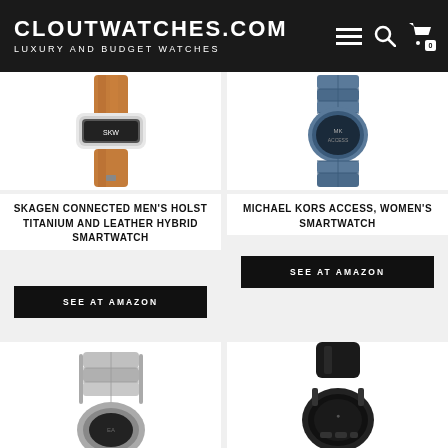CLOUTWATCHES.COM — LUXURY AND BUDGET WATCHES
[Figure (photo): Skagen watch with brown leather band, viewed from above]
[Figure (photo): Michael Kors Access smartwatch with blue metal bracelet, viewed from above]
SKAGEN CONNECTED MEN'S HOLST TITANIUM AND LEATHER HYBRID SMARTWATCH
SEE AT AMAZON
MICHAEL KORS ACCESS, WOMEN'S SMARTWATCH
SEE AT AMAZON
[Figure (photo): Silver metal bracelet smartwatch viewed from the side]
[Figure (photo): Black rubber strap smartwatch viewed from the side]